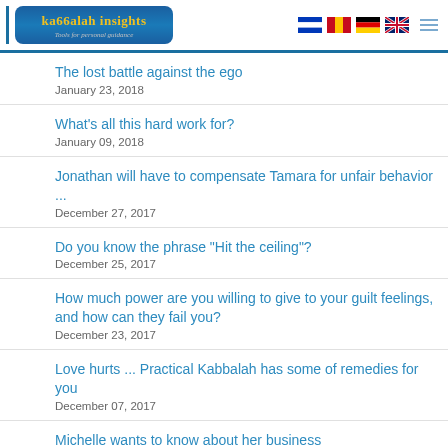Kabbalah Insights - Tools for personal guidance
The lost battle against the ego
January 23, 2018
What's all this hard work for?
January 09, 2018
Jonathan will have to compensate Tamara for unfair behavior ...
December 27, 2017
Do you know the phrase "Hit the ceiling"?
December 25, 2017
How much power are you willing to give to your guilt feelings, and how can they fail you?
December 23, 2017
Love hurts ... Practical Kabbalah has some of remedies for you
December 07, 2017
Michelle wants to know about her business